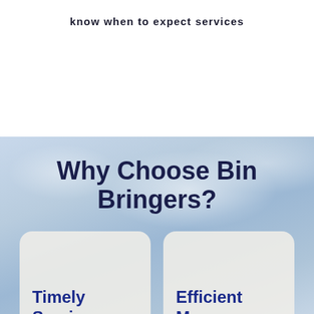know when to expect services
Why Choose Bin Bringers?
Timely Service
Efficient Management